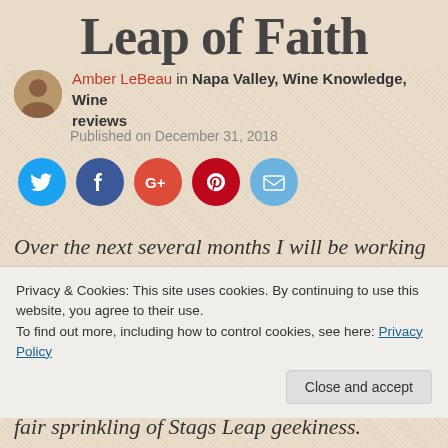Leap of Faith
Amber LeBeau in Napa Valley, Wine Knowledge, Wine reviews
Published on December 31, 2018
[Figure (other): Social sharing icons: Twitter, Facebook, Google+, Pinterest, Email]
Over the next several months I will be working on a research project about the stories and wines of the Staas Leap District. In 2010, this
Privacy & Cookies: This site uses cookies. By continuing to use this website, you agree to their use.
To find out more, including how to control cookies, see here: Privacy Policy
fair sprinkling of Stags Leap geekiness.